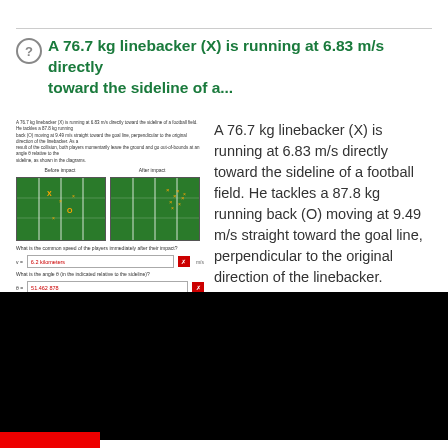A 76.7 kg linebacker (X) is running at 6.83 m/s directly toward the sideline of a...
[Figure (screenshot): Screenshot of an interactive physics problem showing two football field diagrams (before and after views) with player positions, and answer input fields below]
A 76.7 kg linebacker (X) is running at 6.83 m/s directly toward the sideline of a football field. He tackles a 87.8 kg running back (O) moving at 9.49 m/s straight toward the goal line, perpendicular to the original direction of the linebacker. As a result of the collision, both players momentarily leave the ground and go out-of-bounds at an angle θ relative to the sideline, as shown in the diagrams. ...mon speed...